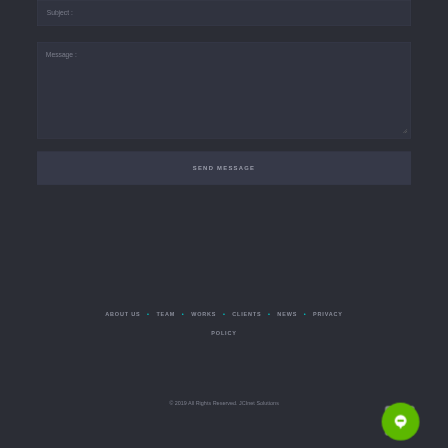Subject :
Message :
SEND MESSAGE
ABOUT US • TEAM • WORKS • CLIENTS • NEWS • PRIVACY POLICY
© 2019 All Rights Reserved. JCInet Solutions